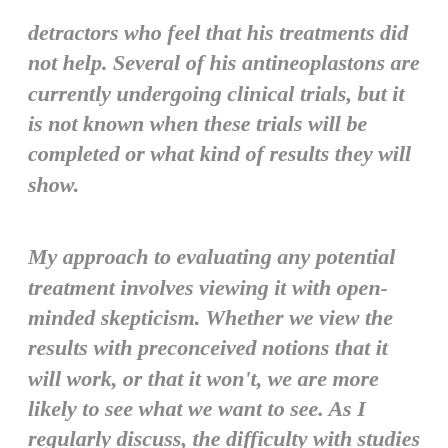detractors who feel that his treatments did not help. Several of his antineoplastons are currently undergoing clinical trials, but it is not known when these trials will be completed or what kind of results they will show.
My approach to evaluating any potential treatment involves viewing it with open-minded skepticism. Whether we view the results with preconceived notions that it will work, or that it won't, we are more likely to see what we want to see. As I regularly discuss, the difficulty with studies into